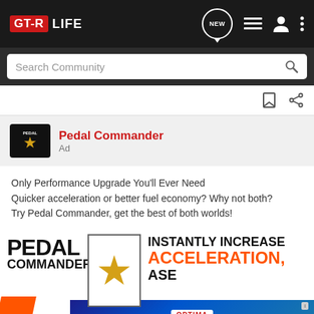GT-R LIFE
Search Community
Pedal Commander
Ad
Only Performance Upgrade You'll Ever Need
Quicker acceleration or better fuel economy? Why not both?
Try Pedal Commander, get the best of both worlds!
[Figure (infographic): Pedal Commander advertisement image showing PEDAL COMMANDER logo with gold star, and text INSTANTLY INCREASE ACCELERATION overlaid. Optima Batteries ad banner at the bottom.]